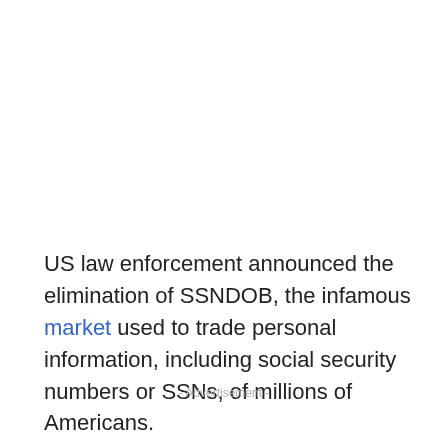US law enforcement announced the elimination of SSNDOB, the infamous market used to trade personal information, including social security numbers or SSNs, of millions of Americans.
- Advertisement -